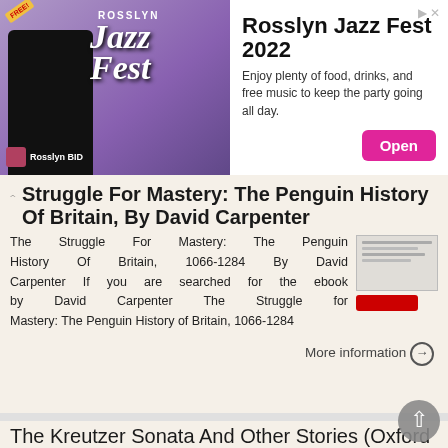[Figure (infographic): Advertisement banner for Rosslyn Jazz Fest 2022 by Rosslyn BID, with image of musician, festival branding, description text, and Open button]
Struggle For Mastery: The Penguin History Of Britain, By David Carpenter
The Struggle For Mastery: The Penguin History Of Britain, 1066-1284 By David Carpenter If you are searched for the ebook by David Carpenter The Struggle for Mastery: The Penguin History of Britain, 1066-1284
More information →
The Kreutzer Sonata And Other Stories (Oxford World's Classics) By Leo Tolstoy, Richard F. Gustafson READ ONLINE
The Kreutzer Sonata And Other Stories (Oxford World's Classics) By Leo Tolstoy,